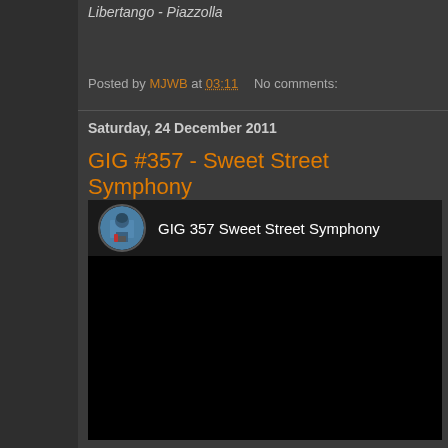Libertango - Piazzolla
Posted by MJWB at 03:11  No comments:
Saturday, 24 December 2011
GIG #357 - Sweet Street Symphony
[Figure (screenshot): YouTube-style video embed with circular avatar of accordion player and title 'GIG 357 Sweet Street Symphony' on dark background]